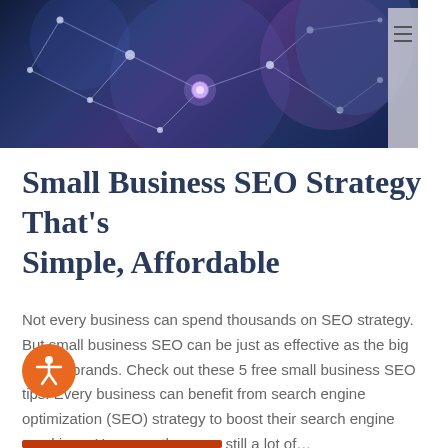[Figure (photo): Dark blue abstract network/technology image showing a person touching a glowing network node, with connected geometric lines and dots on a dark blue/purple background]
Small Business SEO Strategy That’s Simple, Affordable
Not every business can spend thousands on SEO strategy. But small business SEO can be just as effective as the big budget brands. Check out these 5 free small business SEO tips. Every business can benefit from search engine optimization (SEO) strategy to boost their search engine rankings. However, there are still a lot of…